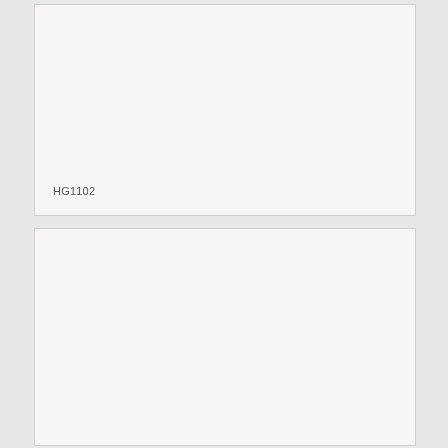[Figure (other): Large empty light gray box with label HG1102 in lower left corner]
HG1102
[Figure (other): Large empty light gray box with no label]